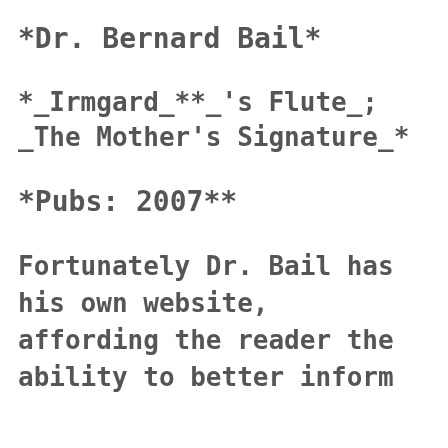*Dr. Bernard Bail*
*_Irmgard_**_'s Flute_; _The Mother's Signature_*
*Pubs: 2007**
Fortunately Dr. Bail has his own website, affording the reader the ability to better inform